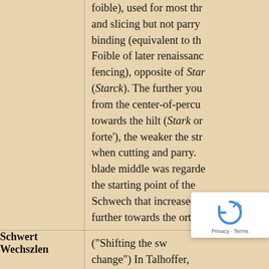| Term | Definition |
| --- | --- |
|  | foible), used for most thr and slicing but not parry binding (equivalent to th Foible of later renaissance fencing), opposite of Starck (Starck). The further you from the center-of-percu towards the hilt (Stark or forte'), the weaker the str when cutting and parry. blade middle was regarde the starting point of the Schwech that increased further towards the ort. |
| Schwert Wechszlen | ("Shifting the sw change") In Talhoffer, |